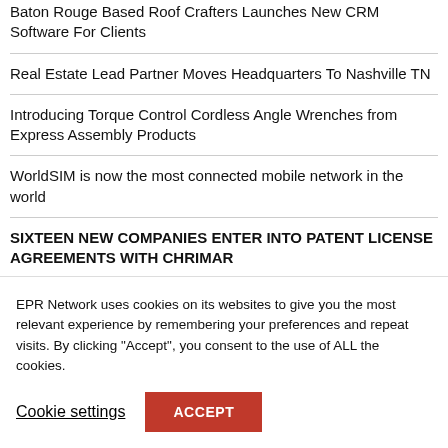Baton Rouge Based Roof Crafters Launches New CRM Software For Clients
Real Estate Lead Partner Moves Headquarters To Nashville TN
Introducing Torque Control Cordless Angle Wrenches from Express Assembly Products
WorldSIM is now the most connected mobile network in the world
SIXTEEN NEW COMPANIES ENTER INTO PATENT LICENSE AGREEMENTS WITH CHRIMAR
EPR Network uses cookies on its websites to give you the most relevant experience by remembering your preferences and repeat visits. By clicking "Accept", you consent to the use of ALL the cookies.
Cookie settings
ACCEPT